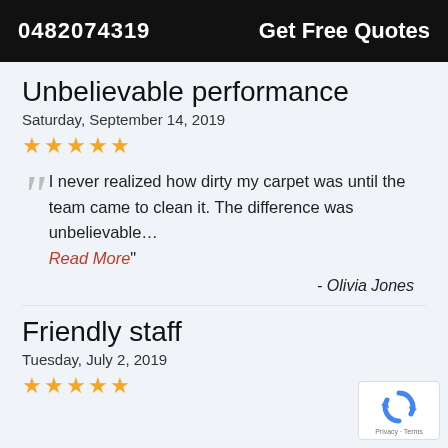0482074319   Get Free Quotes
Unbelievable performance
Saturday, September 14, 2019
★★★★★
“I never realized how dirty my carpet was until the team came to clean it. The difference was unbelievable… Read More”
- Olivia Jones
Friendly staff
Tuesday, July 2, 2019
★★★★★